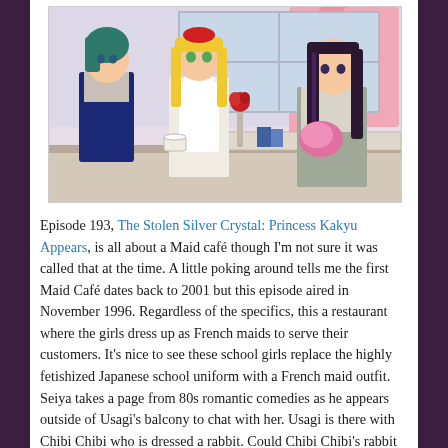[Figure (illustration): Anime screenshot from Sailor Moon showing three female characters in what appears to a café or restaurant setting. A blonde character in a white maid outfit stands in the center, a teal-haired character is on the left in a school uniform, and a dark-haired character is on the right in a school uniform. There is a rose in a vase and various items on a counter/table. Pink curtains are visible in the background.]
Episode 193, The Stolen Silver Crystal: Princess Kakyu Appears, is all about a Maid café though I'm not sure it was called that at the time. A little poking around tells me the first Maid Café dates back to 2001 but this episode aired in November 1996. Regardless of the specifics, this a restaurant where the girls dress up as French maids to serve their customers. It's nice to see these school girls replace the highly fetishized Japanese school uniform with a French maid outfit. Seiya takes a page from 80s romantic comedies as he appears outside of Usagi's balcony to chat with her. Usagi is there with Chibi Chibi who is dressed a rabbit. Could Chibi Chibi's rabbit outfit